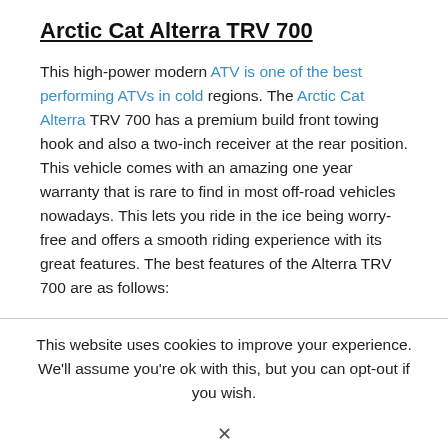Arctic Cat Alterra TRV 700
This high-power modern ATV is one of the best performing ATVs in cold regions. The Arctic Cat Alterra TRV 700 has a premium build front towing hook and also a two-inch receiver at the rear position. This vehicle comes with an amazing one year warranty that is rare to find in most off-road vehicles nowadays. This lets you ride in the ice being worry-free and offers a smooth riding experience with its great features. The best features of the Alterra TRV 700 are as follows:
This website uses cookies to improve your experience. We'll assume you're ok with this, but you can opt-out if you wish.